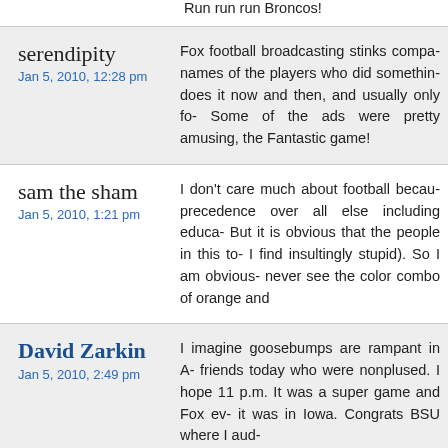Run run run Broncos!
serendipity
Jan 5, 2010, 12:28 pm
Fox football broadcasting stinks compa- names of the players who did somethin- does it now and then, and usually only fo- Some of the ads were pretty amusing, the Fantastic game!
sam the sham
Jan 5, 2010, 1:21 pm
I don't care much about football becau- precedence over all else including educa- But it is obvious that the people in this to- I find insultingly stupid). So I am obvious- never see the color combo of orange and
David Zarkin
Jan 5, 2010, 2:49 pm
I imagine goosebumps are rampant in A- friends today who were nonplused. I hope 11 p.m. It was a super game and Fox ev- it was in Iowa. Congrats BSU where I aud-
Gordon
Jan 5, 2010, 2:54 pm
Maybe we should let the Broncos run th- once in a while to make the budget balan-